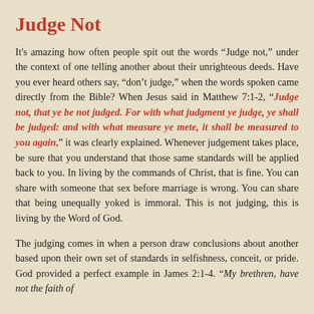Judge Not
It's amazing how often people spit out the words “Judge not,” under the context of one telling another about their unrighteous deeds. Have you ever heard others say, “don’t judge,” when the words spoken came directly from the Bible? When Jesus said in Matthew 7:1-2, “Judge not, that ye be not judged. For with what judgment ye judge, ye shall be judged: and with what measure ye mete, it shall be measured to you again,” it was clearly explained. Whenever judgement takes place, be sure that you understand that those same standards will be applied back to you. In living by the commands of Christ, that is fine. You can share with someone that sex before marriage is wrong. You can share that being unequally yoked is immoral. This is not judging, this is living by the Word of God.
The judging comes in when a person draw conclusions about another based upon their own set of standards in selfishness, conceit, or pride. God provided a perfect example in James 2:1-4. “My brethren, have not the faith of